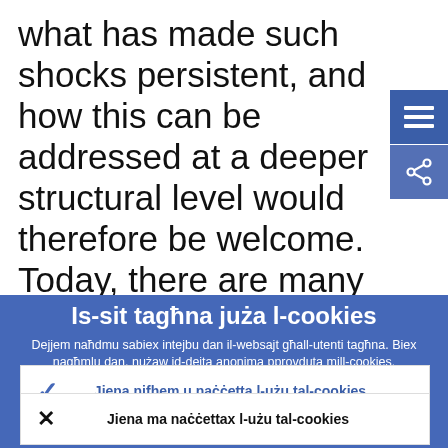what has made such shocks persistent, and how this can be addressed at a deeper structural level would therefore be welcome. Today, there are many signs that political support for international financial
Is-sit tagħna juża l-cookies
Dejjem naħdmu sabiex intejbu dan il-websajt għall-utenti tagħna. Biex nagħmlu dan, nużaw id-dejta anonima pprovduta mill-cookies.
Tgħallem iktar dwar kif nużaw il-cookies
Jiena nifhem u naċċetta l-użu tal-cookies
Jiena ma naċċettax l-użu tal-cookies